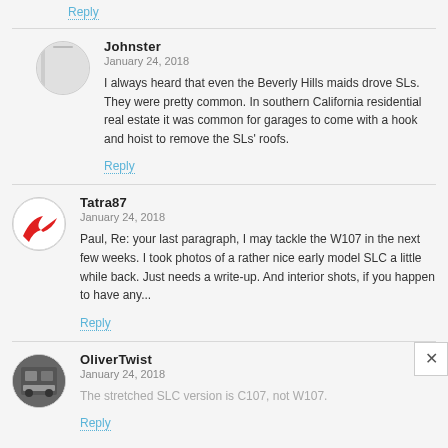Reply
Johnster
January 24, 2018
I always heard that even the Beverly Hills maids drove SLs. They were pretty common. In southern California residential real estate it was common for garages to come with a hook and hoist to remove the SLs' roofs.
Reply
Tatra87
January 24, 2018
Paul, Re: your last paragraph, I may tackle the W107 in the next few weeks. I took photos of a rather nice early model SLC a little while back. Just needs a write-up. And interior shots, if you happen to have any...
Reply
OliverTwist
January 24, 2018
The stretched SLC version is C107, not W107.
Reply